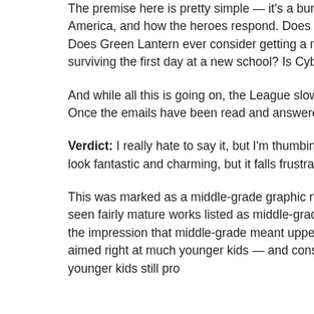The premise here is pretty simple — it's a bunch of kids sending emails to the Justice League of America, and how the heroes respond. Does Superman ever make mistakes? Oh mercy, does he ever. Does Green Lantern ever consider getting a more fashionable costume? Does Batman have advice for surviving the first day at a new school? Is Cyborg willing to challenge kids in video game tournaments?
And while all this is going on, the League slowly becomes aware of a danger looming over the world. Once the emails have been read and answered, will the JLA be able to defeat this new invasion?
Verdict: I really hate to say it, but I'm thumbing this one down. I had hopes, 'cause the art really does look fantastic and charming, but it falls frustratingly short of actual storytelling.
This was marked as a middle-grade graphic novel, and I feel like that needs a better definition. I've seen fairly mature works listed as middle-grade, and I've seen less mature works, too. I'd been under the impression that middle-grade meant upper elementary to lower high school but this reads like it was aimed right at much younger kids — and considering some of the jokes are in this book, most of those younger kids still probably won't get them.